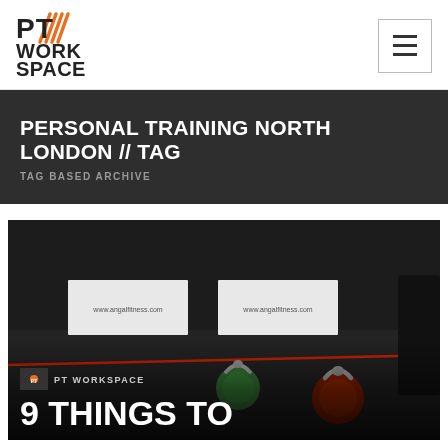[Figure (logo): PT Workspace logo with stylized flame/slash marks in orange and text PT WORKSPACE in black]
Navigation menu hamburger icon
PERSONAL TRAINING NORTH LONDON // TAG
TAG BASED ARCHIVE
[Figure (photo): Gym floor with kettlebells (green and red/orange) on a dark rubber mat, with event banners in the background reading www.angalfitness.com. PT Workspace branding overlay at bottom with text '9 THINGS TO' visible]
PT WORKSPACE
9 THINGS TO